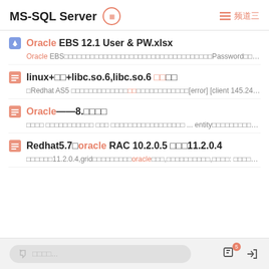MS-SQL Server  频道三
Oracle EBS 12.1 User & PW.xlsx — Oracle EBS□□□□□□□□□□□□□□□□□□□□□□□□□□□□□□□□□□Password□□□□□□...
linux+□□+libc.so.6,libc.so.6 □□□□ — □Redhat AS5 □□□□□□□□□□□□□□□□□□□□□□□□□[error] [client 145.24.2...
Oracle——8.□□□□ — □□□□ □□□□□□□□□□□ □□□ □□□□□□□□□□□□□□□□□ ... entity□□□□□□□□□□□...
Redhat5.7□oracle RAC 10.2.0.5 □□□11.2.0.4 — □□□□□□11.2.0.4,grid□□□□□□□□□oracle□□□,□□□□□□□□□□,□□□□: □□□□□□□oracl...